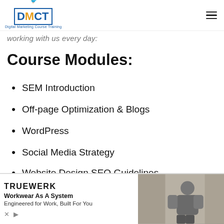DMCT Digital Marketing Course Training
working with us every day:
Course Modules:
SEM Introduction
Off-page Optimization & Blogs
WordPress
Social Media Strategy
Website Design SEO Guidelines
Amazon Affiliate Marketing – Make Money Online
[Figure (advertisement): TRUEWERK ad: Workwear As A System, Engineered for Work, Built For You, with photo of a worker]